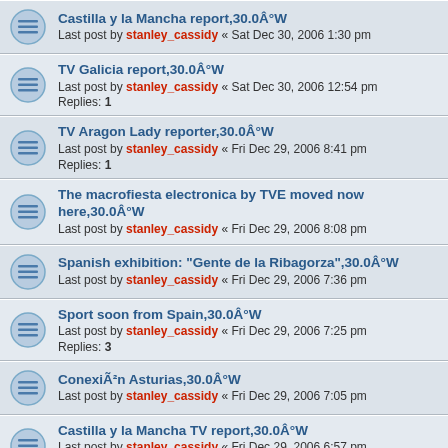Castilla y la Mancha report,30.0Â°W
Last post by stanley_cassidy « Sat Dec 30, 2006 1:30 pm
TV Galicia report,30.0Â°W
Last post by stanley_cassidy « Sat Dec 30, 2006 12:54 pm
Replies: 1
TV Aragon Lady reporter,30.0Â°W
Last post by stanley_cassidy « Fri Dec 29, 2006 8:41 pm
Replies: 1
The macrofiesta electronica by TVE moved now here,30.0Â°W
Last post by stanley_cassidy « Fri Dec 29, 2006 8:08 pm
Spanish exhibition: "Gente de la Ribagorza",30.0Â°W
Last post by stanley_cassidy « Fri Dec 29, 2006 7:36 pm
Sport soon from Spain,30.0Â°W
Last post by stanley_cassidy « Fri Dec 29, 2006 7:25 pm
Replies: 3
ConexiÃ²n Asturias,30.0Â°W
Last post by stanley_cassidy « Fri Dec 29, 2006 7:05 pm
Castilla y la Mancha TV report,30.0Â°W
Last post by stanley_cassidy « Fri Dec 29, 2006 6:57 pm
Replies: 4
IB3 Lady reporter,30.0Â°W
Last post by stanley_cassidy « Fri Dec 29, 2006 6:55 pm
Replies: 1
Canal 9 Valencia report,30.0Â°W
Last post by stanley_cassidy « Fri Dec 29, 2006 1:50 pm